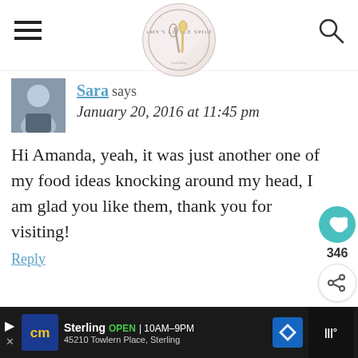[Figure (logo): Website logo with whisk and spoon in a circle, decorative food blog header]
Sara says
January 20, 2016 at 11:45 pm
Hi Amanda, yeah, it was just another one of my food ideas knocking around my head, I am glad you like them, thank you for visiting!
WHAT'S NEXT → Roasted Purslane...
Sterling  OPEN | 10AM–9PM  45210 Towlern Place, Sterling